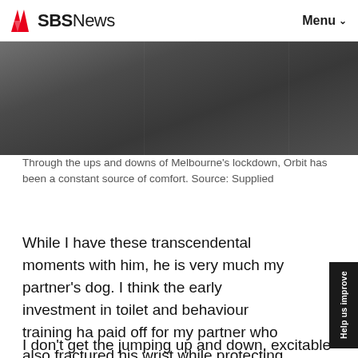SBS News   Menu
[Figure (photo): Partial view of a dark leather sofa/couch, photographed from a low angle showing the seat and back cushions in dark grey/charcoal tones.]
Through the ups and downs of Melbourne's lockdown, Orbit has been a constant source of comfort. Source: Supplied
While I have these transcendental moments with him, he is very much my partner's dog. I think the early investment in toilet and behaviour training has paid off for my partner who also fractured his wrist while protecting Orbit from an off leash dog when Orbit was a young pup.
I don't get the jumping up and down, excitable